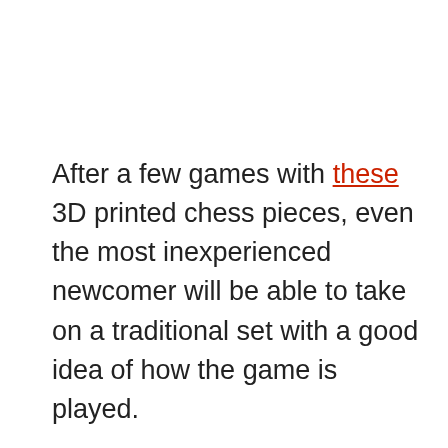After a few games with these 3D printed chess pieces, even the most inexperienced newcomer will be able to take on a traditional set with a good idea of how the game is played.
The files available here come in a few different sizes, the larger of which is ideal for households with particularly young children to make sure they don't choke on them.